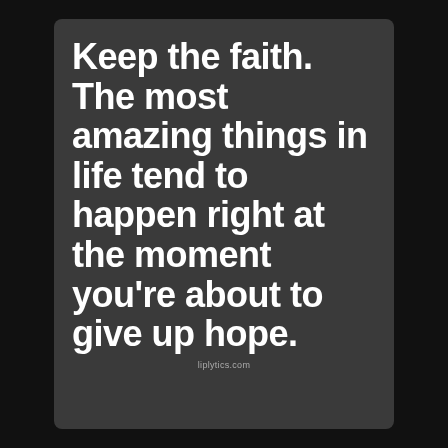Keep the faith. The most amazing things in life tend to happen right at the moment you're about to give up hope.
liplytics.com